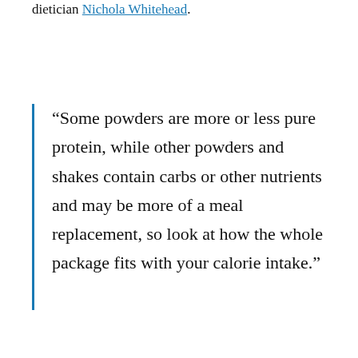dietician Nichola Whitehead.
“Some powders are more or less pure protein, while other powders and shakes contain carbs or other nutrients and may be more of a meal replacement, so look at how the whole package fits with your calorie intake.”